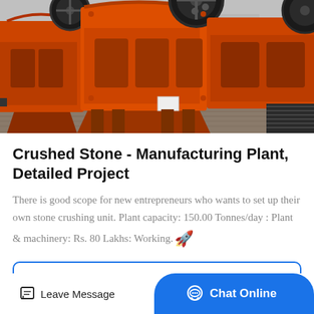[Figure (photo): Large industrial orange jaw crushers / stone crushing machines lined up outdoors on a concrete surface, viewed from a low angle showing their massive frames and flywheels.]
Crushed Stone - Manufacturing Plant, Detailed Project
There is good scope for new entrepreneurs who wants to set up their own stone crushing unit. Plant capacity: 150.00 Tonnes/day : Plant & machinery: Rs. 80 Lakhs: Working...
Get Price
Leave Message
Chat Online